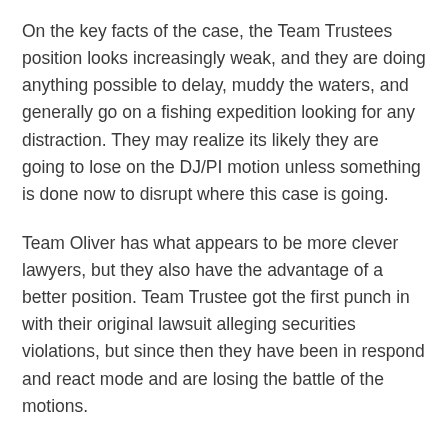On the key facts of the case, the Team Trustees position looks increasingly weak, and they are doing anything possible to delay, muddy the waters, and generally go on a fishing expedition looking for any distraction. They may realize its likely they are going to lose on the DJ/PI motion unless something is done now to disrupt where this case is going.
Team Oliver has what appears to be more clever lawyers, but they also have the advantage of a better position. Team Trustee got the first punch in with their original lawsuit alleging securities violations, but since then they have been in respond and react mode and are losing the battle of the motions.
What is next? I'd expect Judge Boyle might schedule a day for each side to present their arguments on the “more discovery is needed” motion before ruling. Its